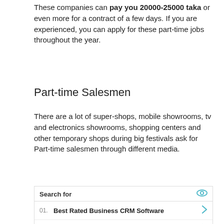These companies can pay you 20000-25000 taka or even more for a contract of a few days. If you are experienced, you can apply for these part-time jobs throughout the year.
Part-time Salesmen
There are a lot of super-shops, mobile showrooms, tv and electronics showrooms, shopping centers and other temporary shops during big festivals ask for Part-time salesmen through different media.
[Figure (other): Sponsored search ad box with 'Search for' header and two ad listings: 01. Best Rated Business CRM Software, 02. Get The Best Eye Wrinkle Serum. Footer shows Yahoo! Search | Sponsored.]